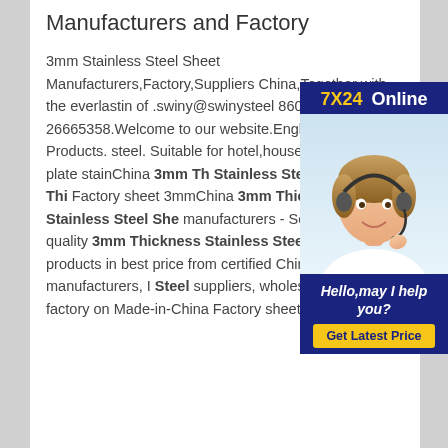Manufacturers and Factory
3mm Stainless Steel Sheet Manufacturers,Factory,Suppliers China,Together with the everlasting of .swiny@swinysteel 860755-26665358.Welcome to our website.English.Home; Products. steel. Suitable for hotel,household square plate stainChina 3mm Thickness Stainless Steel Sheet, 3mm Thickness Stainless Steel Sheet Factory sheet 3mmChina 3mm Thickness Stainless Steel Sheet manufacturers - Select 2020 high quality 3mm Thickness Stainless Steel Sheet products in best price from certified Chinese U Steel manufacturers, I Steel suppliers, wholesalers and factory on Made-in-China Factory sheet 3mmFactory
[Figure (photo): Customer service representative / support agent photo with headset, smiling. Sidebar widget with '7X24 Online' header in navy blue, photo of agent, 'Hello,may I help you?' text, and 'Get Latest Price' yellow button.]